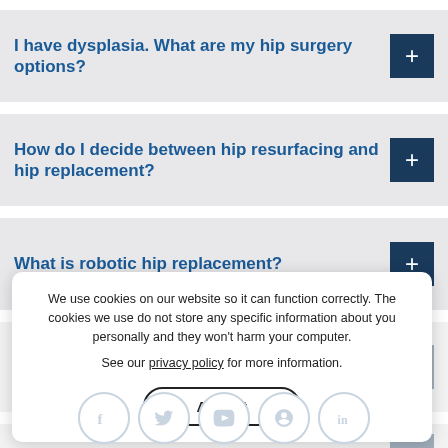I have dysplasia. What are my hip surgery options?
How do I decide between hip resurfacing and hip replacement?
What is robotic hip replacement?
How do I decide between robotic and manual hip replacement?
Can I a...
We use cookies on our website so it can function correctly. The cookies we use do not store any specific information about you personally and they won't harm your computer.
See our privacy policy for more information.